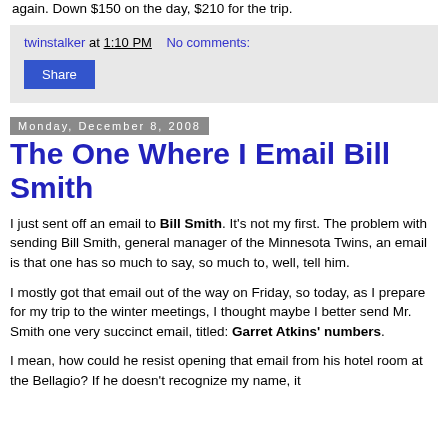again. Down $150 on the day, $210 for the trip.
twinstalker at 1:10 PM   No comments:
Share
Monday, December 8, 2008
The One Where I Email Bill Smith
I just sent off an email to Bill Smith. It's not my first. The problem with sending Bill Smith, general manager of the Minnesota Twins, an email is that one has so much to say, so much to, well, tell him.
I mostly got that email out of the way on Friday, so today, as I prepare for my trip to the winter meetings, I thought maybe I better send Mr. Smith one very succinct email, titled: Garret Atkins' numbers.
I mean, how could he resist opening that email from his hotel room at the Bellagio? If he doesn't recognize my name, it